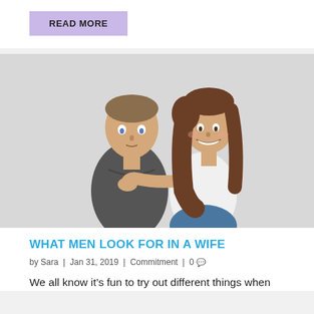READ MORE
[Figure (photo): A young couple posing together against a light gray background. The woman, wearing a white long-sleeve top and jeans, hugs the man from behind, smiling broadly. The man, wearing a dark gray t-shirt, looks upward with a neutral expression.]
WHAT MEN LOOK FOR IN A WIFE
by Sara | Jan 31, 2019 | Commitment | 0
We all know it's fun to try out different things when